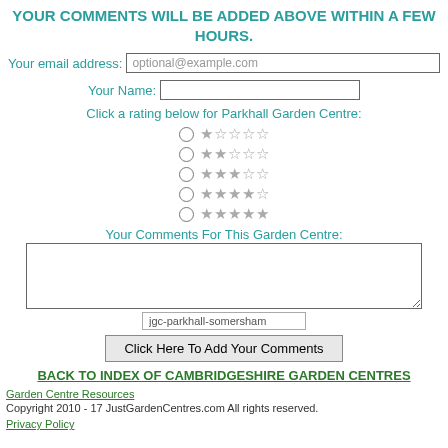YOUR COMMENTS WILL BE ADDED ABOVE WITHIN A FEW HOURS.
Your email address: optional@example.com
Your Name:
Click a rating below for Parkhall Garden Centre:
[Figure (other): Five radio button star rating options from 1 star to 5 stars]
Your Comments For This Garden Centre:
jgc-parkhall-somersham
Click Here To Add Your Comments
BACK TO INDEX OF CAMBRIDGESHIRE GARDEN CENTRES
Garden Centre Resources
Copyright 2010 - 17 JustGardenCentres.com All rights reserved.
Privacy Policy